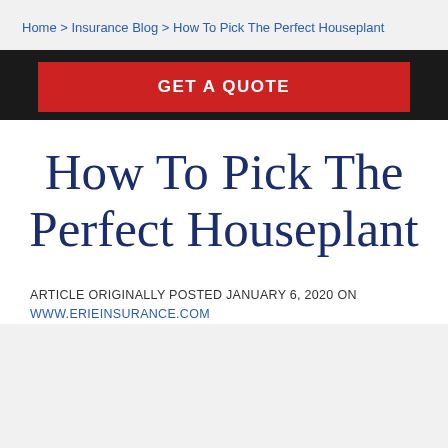Home > Insurance Blog > How To Pick The Perfect Houseplant
[Figure (other): Red GET A QUOTE button on black banner background]
How To Pick The Perfect Houseplant
ARTICLE ORIGINALLY POSTED JANUARY 6, 2020 ON WWW.ERIEINSURANCE.COM